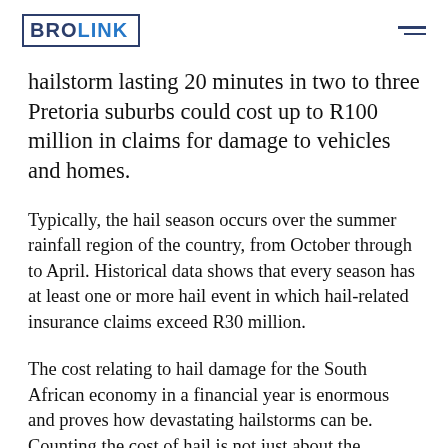BROLINK
hailstorm lasting 20 minutes in two to three Pretoria suburbs could cost up to R100 million in claims for damage to vehicles and homes.
Typically, the hail season occurs over the summer rainfall region of the country, from October through to April. Historical data shows that every season has at least one or more hail event in which hail-related insurance claims exceed R30 million.
The cost relating to hail damage for the South African economy in a financial year is enormous and proves how devastating hailstorms can be. Counting the cost of hail is not just about the